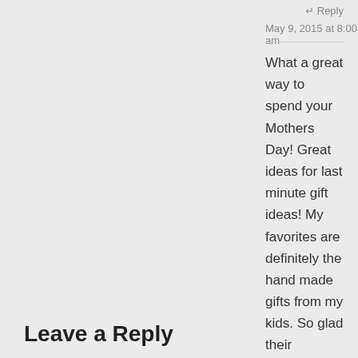JILL ANDERSON says:
May 9, 2015 at 8:00 am
↵ Reply
What a great way to spend your Mothers Day! Great ideas for last minute gift ideas! My favorites are definitely the hand made gifts from my kids. So glad their teachers take the time to help them make them! LOVE the jacket with the maxi dress! And of course the bling! Mixing casual and dressy are one of my faves!
Leave a Reply